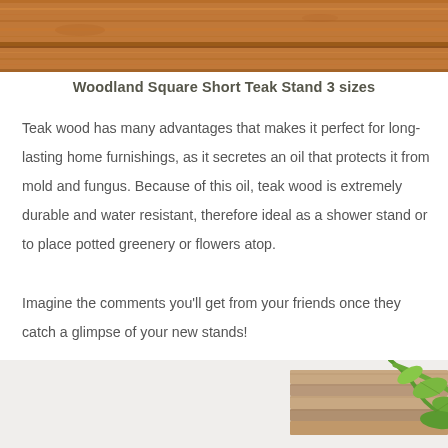[Figure (photo): Top portion of wood planks with warm brown teak grain texture]
Woodland Square Short Teak Stand 3 sizes
Teak wood has many advantages that makes it perfect for long-lasting home furnishings, as it secretes an oil that protects it from mold and fungus. Because of this oil, teak wood is extremely durable and water resistant, therefore ideal as a shower stand or to place potted greenery or flowers atop.
Imagine the comments you'll get from your friends once they catch a glimpse of your new stands!
[Figure (photo): Bottom portion showing stacked books on white surface with green plant leaves draping over them]